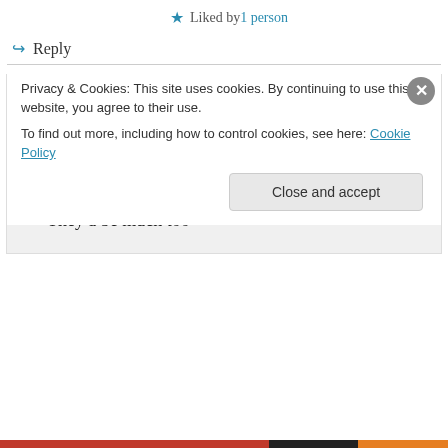★ Liked by 1 person
↪ Reply
ETM Now on June 18, 2014 at 10:27 pm
Great idea, thanks Jock. What ETMNow has is stickers, originally designed for car bumpers (no longer recommended) but great for laptop covers. They'd be much too
Privacy & Cookies: This site uses cookies. By continuing to use this website, you agree to their use.
To find out more, including how to control cookies, see here: Cookie Policy